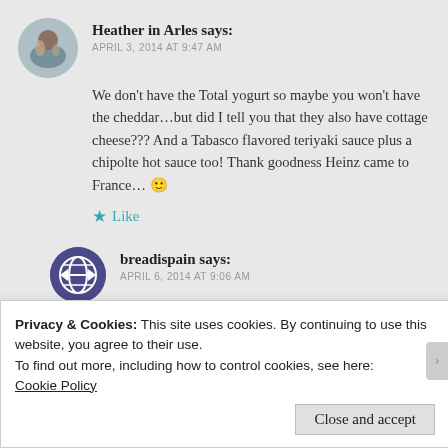Heather in Arles says:
APRIL 3, 2014 AT 9:47 AM
We don't have the Total yogurt so maybe you won't have the cheddar…but did I tell you that they also have cottage cheese??? And a Tabasco flavored teriyaki sauce plus a chipolte hot sauce too! Thank goodness Heinz came to France… 🙂
★ Like
breadispain says:
APRIL 6, 2014 AT 9:06 AM
I still haven't spotted the cheddar but I have seen the other stuff. So exciting…
Privacy & Cookies: This site uses cookies. By continuing to use this website, you agree to their use.
To find out more, including how to control cookies, see here:
Cookie Policy
Close and accept